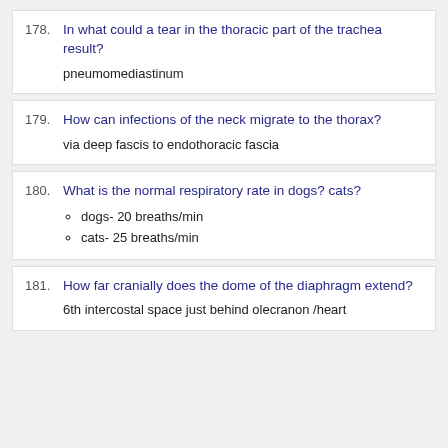178. In what could a tear in the thoracic part of the trachea result? pneumomediastinum
179. How can infections of the neck migrate to the thorax? via deep fascis to endothoracic fascia
180. What is the normal respiratory rate in dogs? cats? dogs- 20 breaths/min; cats- 25 breaths/min
181. How far cranially does the dome of the diaphragm extend? 6th intercostal space just behind olecranon /heart